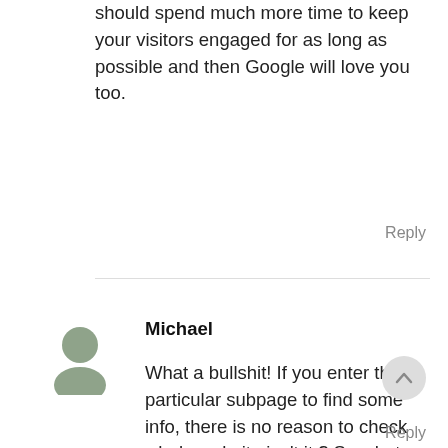should spend much more time to keep your visitors engaged for as long as possible and then Google will love you too.
Reply
[Figure (illustration): Gray generic user avatar icon showing a circle head and shoulders silhouette]
Michael
What a bullshit! If you enter the particular subpage to find some info, there is no reason to check whole website isn't it ? So what you can do is close the tab, right? Your thinking is like 3year old baby.
Reply